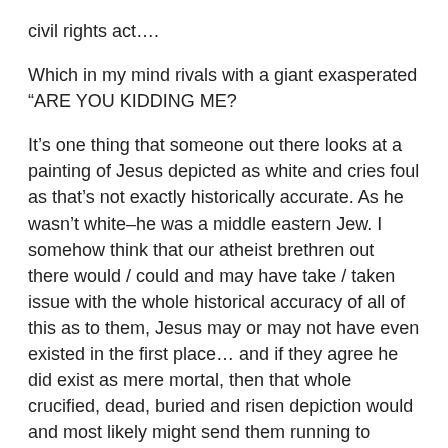civil rights act….
Which in my mind rivals with a giant exasperated “ARE YOU KIDDING ME?
It’s one thing that someone out there looks at a painting of Jesus depicted as white and cries foul as that’s not exactly historically accurate. As he wasn’t white–he was a middle eastern Jew. I somehow think that our atheist brethren out there would / could and may have take / taken issue with the whole historical accuracy of all of this as to them, Jesus may or may not have even existed in the first place… and if they agree he did exist as mere mortal, then that whole crucified, dead, buried and risen depiction would and most likely might send them running to lawyer up as it were…